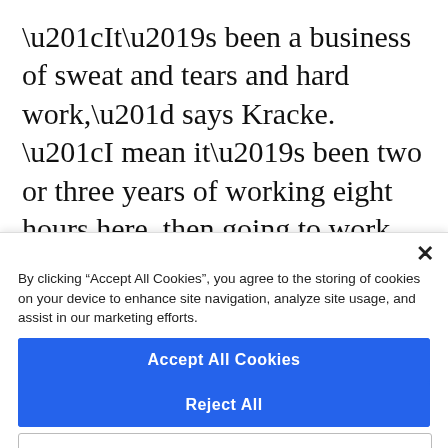“It’s been a business of sweat and tears and hard work,” says Kracke. “I mean it’s been two or three years of working eight hours here, then going to work another four or five hours when we get home.” But the hard work is paying off. “The thing that’s really incredible and I think the best, is the letters and notes we
By clicking “Accept All Cookies”, you agree to the storing of cookies on your device to enhance site navigation, analyze site usage, and assist in our marketing efforts.
Accept All Cookies
Reject All
Cookies Settings